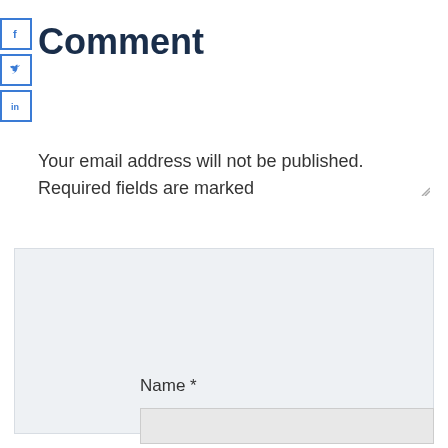[Figure (illustration): Three social media share/like buttons stacked vertically on the left side: Facebook (f), Twitter bird, LinkedIn (in) — each in a blue-bordered square box]
Comment
Your email address will not be published. Required fields are marked
[Figure (screenshot): Large light gray textarea input box for comment entry, with a resize handle in the bottom-right corner]
Name *
[Figure (screenshot): Light gray text input field for Name]